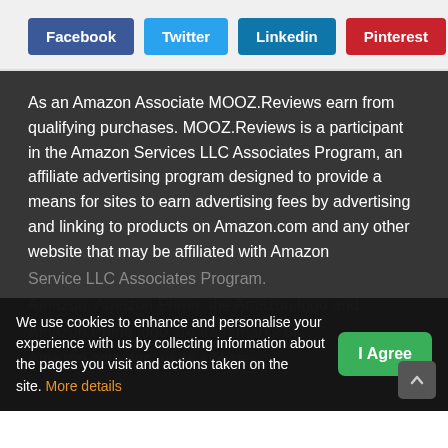[Figure (other): Social media share buttons: Facebook (dark blue), Twitter (light blue), Linkedin (teal blue), Pinterest (red)]
As an Amazon Associate MOOZ.Reviews earn from qualifying purchases. MOOZ.Reviews is a participant in the Amazon Services LLC Associates Program, an affiliate advertising program designed to provide a means for sites to earn advertising fees by advertising and linking to products on Amazon.com and any other website that may be affiliated with Amazon Service LLC Associates Program. Amazon, Amazon Prime, the Amazon logo and Amazon Prime logo are trademarks of Amazon.com, Inc. or its affiliates.
We use cookies to enhance and personalise your experience with us by collecting information about the pages you visit and actions taken on the site. More details